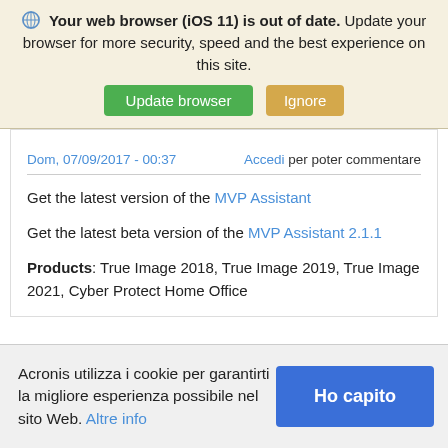Your web browser (iOS 11) is out of date. Update your browser for more security, speed and the best experience on this site.
Update browser | Ignore
Dom, 07/09/2017 - 00:37   Accedi per poter commentare
Get the latest version of the MVP Assistant
Get the latest beta version of the MVP Assistant 2.1.1
Products: True Image 2018, True Image 2019, True Image 2021, Cyber Protect Home Office
Acronis utilizza i cookie per garantirti la migliore esperienza possibile nel sito Web. Altre info
Ho capito